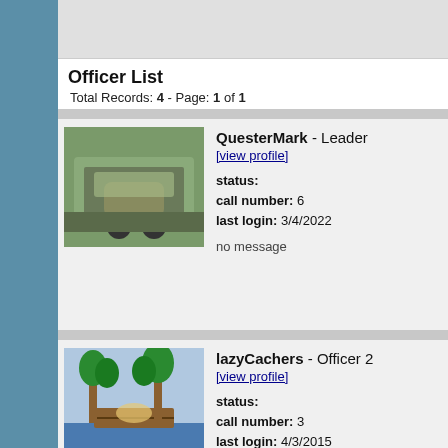Officer List
Total Records: 4 - Page: 1 of 1
QuesterMark - Leader
[view profile]
status:
call number: 6
last login: 3/4/2022
no message
lazyCachers - Officer 2
[view profile]
status:
call number: 3
last login: 4/3/2015
no message
the federation - Officer 2
[view profile]
status:
call number: 4
last login: 4/18/2015
no message
sfwife - Officer 2